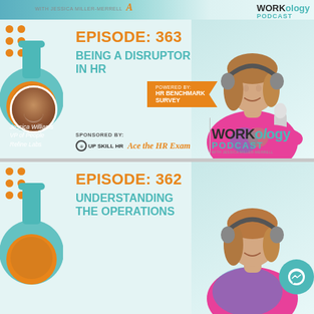[Figure (screenshot): Top partial banner for Workology Podcast]
[Figure (screenshot): Episode 363 podcast card: BEING A DISRUPTOR IN HR, featuring Jessica Williams VP of People at Refine Labs, Powered by HR Benchmark Survey, Sponsored by Up Skill HR and Ace the HR Exam, Workology Podcast branding]
EPISODE: 363
BEING A DISRUPTOR IN HR
POWERED BY:
HR BENCHMARK SURVEY
Jessica Williams
VP of People
Refine Labs
SPONSORED BY:
UP SKILL HR   Ace the HR Exam
WORKology PODCAST
[Figure (screenshot): Episode 362 podcast card: UNDERSTANDING THE OPERATIONS, partial view at bottom]
EPISODE: 362
UNDERSTANDING THE OPERATIONS